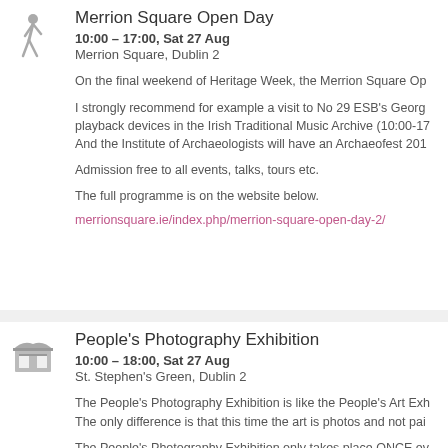Merrion Square Open Day
10:00 – 17:00, Sat 27 Aug
Merrion Square, Dublin 2
On the final weekend of Heritage Week, the Merrion Square Op
I strongly recommend for example a visit to No 29 ESB's Georg playback devices in the Irish Traditional Music Archive (10:00-17 And the Institute of Archaeologists will have an Archaeofest 201
Admission free to all events, talks, tours etc.
The full programme is on the website below.
merrionsquare.ie/index.php/merrion-square-open-day-2/
People's Photography Exhibition
10:00 – 18:00, Sat 27 Aug
St. Stephen's Green, Dublin 2
The People's Photography Exhibition is like the People's Art Exh The only difference is that this time the art is photos and not pai
The People's Photography Exhibition only takes place ONCE ev
Admission is free and you are invited to view only, but also to bu